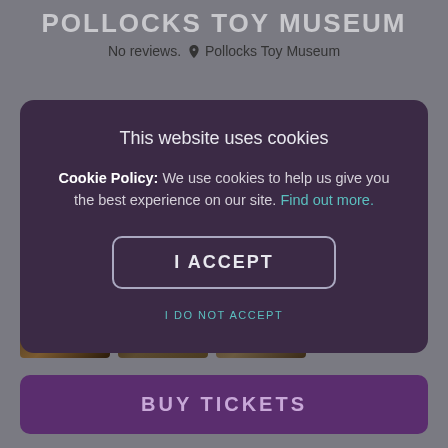POLLOCKS TOY MUSEUM
No reviews. ▾ Pollocks Toy Museum
This website uses cookies

Cookie Policy: We use cookies to help us give you the best experience on our site. Find out more.

I ACCEPT

I DO NOT ACCEPT
[Figure (screenshot): Three small thumbnail images of museum interior/exhibits]
BUY TICKETS